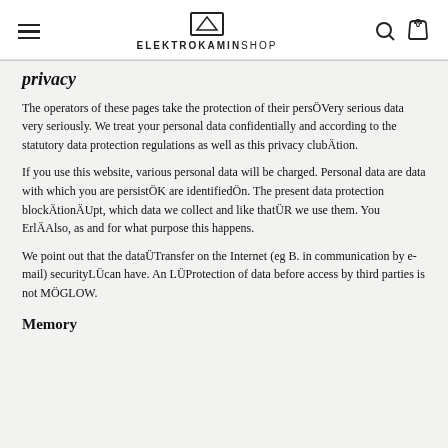ELEKTROKAMINSHOP
privacy
The operators of these pages take the protection of their persÖVery serious data very seriously. We treat your personal data confidentially and according to the statutory data protection regulations as well as this privacy clubÄtion.
If you use this website, various personal data will be charged. Personal data are data with which you are persistÖK are identifiedÖn. The present data protection blockÄtionÄUpt, which data we collect and like thatÜR we use them. You ErlÄAlso, as and for what purpose this happens.
We point out that the dataÜTransfer on the Internet (eg B. in communication by e-mail) securityLÜcan have. An LÜProtection of data before access by third parties is not MÖGLOW.
Memory